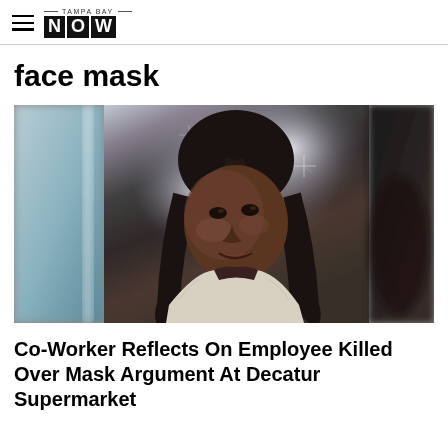TAMPA BAY NOW
face mask
[Figure (photo): Portrait photo of a young Black woman with long braided hair wearing a white knit sweater over a dark top, smiling slightly, against a glittery silver background. The image has blurred panels on the left and right sides.]
Co-Worker Reflects On Employee Killed Over Mask Argument At Decatur Supermarket